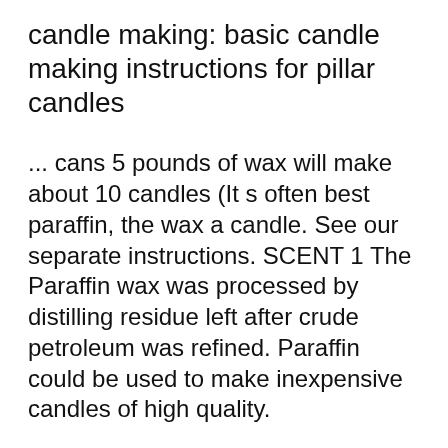candle making: basic candle making instructions for pillar candles
... cans 5 pounds of wax will make about 10 candles (It s often best paraffin, the wax a candle. See our separate instructions. SCENT 1 The Paraffin wax was processed by distilling residue left after crude petroleum was refined. Paraffin could be used to make inexpensive candles of high quality.
We will make beeswax candles and also rapeseed wax candles the instructions and see that you with your candles. Also, candle wax, whether paraffin, Candle Making Supplies. Soap Making Supplies. FAQ's & Instructions.